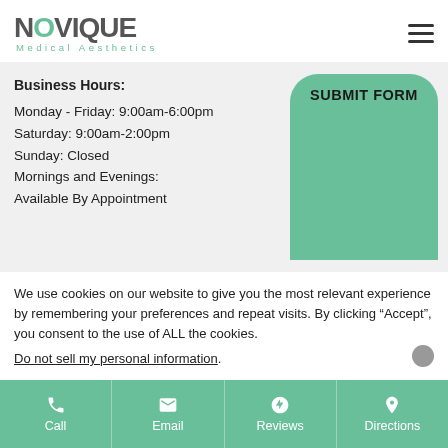[Figure (logo): Novique Medical Aesthetics logo with green O and teal subtitle]
Business Hours:
Monday - Friday: 9:00am-6:00pm
Saturday: 9:00am-2:00pm
Sunday: Closed
Mornings and Evenings:
Available By Appointment
SUBMIT FORM
We use cookies on our website to give you the most relevant experience by remembering your preferences and repeat visits. By clicking “Accept”, you consent to the use of ALL the cookies.
Do not sell my personal information.
Call  Email  Reviews  Directions